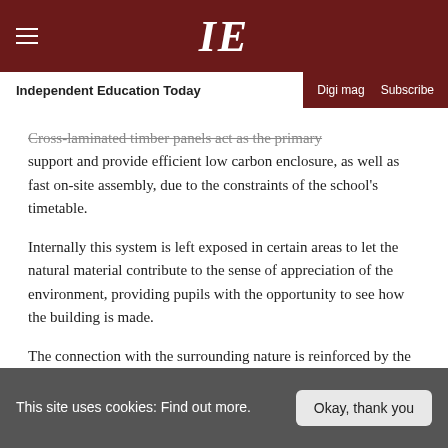IE — Independent Education Today | Digi mag | Subscribe
Cross-laminated timber panels act as the primary support and provide efficient low carbon enclosure, as well as fast on-site assembly, due to the constraints of the school's timetable.
Internally this system is left exposed in certain areas to let the natural material contribute to the sense of appreciation of the environment, providing pupils with the opportunity to see how the building is made.
The connection with the surrounding nature is reinforced by the use of different shades of green on the window reveals.
This site uses cookies: Find out more. | Okay, thank you